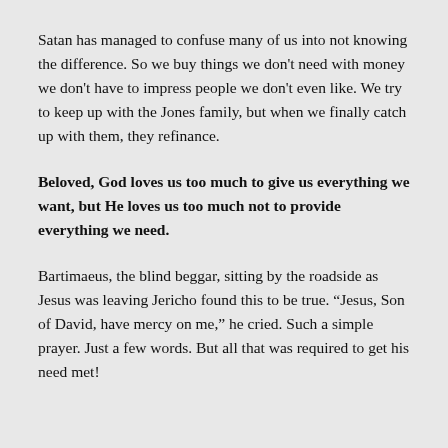Satan has managed to confuse many of us into not knowing the difference. So we buy things we don't need with money we don't have to impress people we don't even like. We try to keep up with the Jones family, but when we finally catch up with them, they refinance.
Beloved, God loves us too much to give us everything we want, but He loves us too much not to provide everything we need.
Bartimaeus, the blind beggar, sitting by the roadside as Jesus was leaving Jericho found this to be true. “Jesus, Son of David, have mercy on me,” he cried. Such a simple prayer. Just a few words. But all that was required to get his need met!